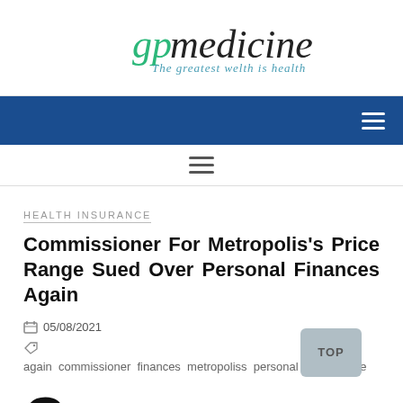[Figure (logo): GP Medicine logo with italic cursive 'gp medicine' text in green/black and tagline 'The greatest welth is health' in teal italic]
Navigation bar (blue) with hamburger menu icon
Secondary navigation bar (white) with hamburger icon
HEALTH INSURANCE
Commissioner For Metropolis's Price Range Sued Over Personal Finances Again
05/08/2021
again commissioner finances metropoliss personal price range